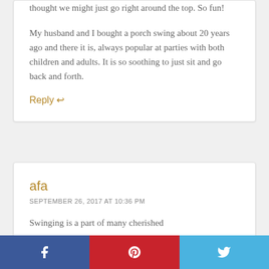thought we might just go right around the top. So fun!

My husband and I bought a porch swing about 20 years ago and there it is, always popular at parties with both children and adults. It is so soothing to just sit and go back and forth.
Reply ↩
afa
SEPTEMBER 26, 2017 AT 10:36 PM
Swinging is a part of many cherished
[Figure (infographic): Social share buttons: Facebook (blue), Pinterest (red), Twitter (light blue)]